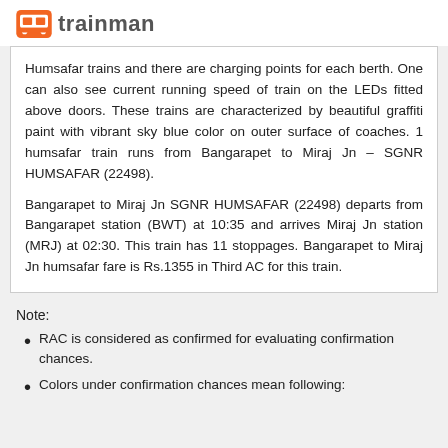trainman
Humsafar trains and there are charging points for each berth. One can also see current running speed of train on the LEDs fitted above doors. These trains are characterized by beautiful graffiti paint with vibrant sky blue color on outer surface of coaches. 1 humsafar train runs from Bangarapet to Miraj Jn - SGNR HUMSAFAR (22498).

Bangarapet to Miraj Jn SGNR HUMSAFAR (22498) departs from Bangarapet station (BWT) at 10:35 and arrives Miraj Jn station (MRJ) at 02:30. This train has 11 stoppages. Bangarapet to Miraj Jn humsafar fare is Rs.1355 in Third AC for this train.
Note:
RAC is considered as confirmed for evaluating confirmation chances.
Colors under confirmation chances mean following: